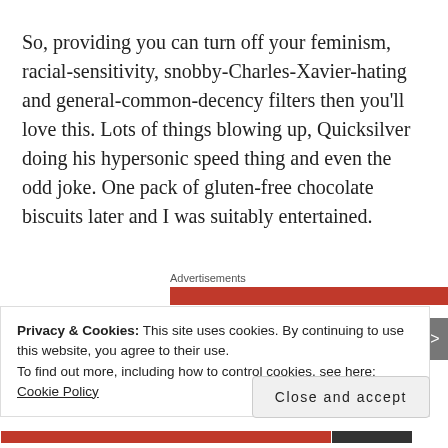So, providing you can turn off your feminism, racial-sensitivity, snobby-Charles-Xavier-hating and general-common-decency filters then you'll love this. Lots of things blowing up, Quicksilver doing his hypersonic speed thing and even the odd joke. One pack of gluten-free chocolate biscuits later and I was suitably entertained.
Advertisements
Privacy & Cookies: This site uses cookies. By continuing to use this website, you agree to their use.
To find out more, including how to control cookies, see here: Cookie Policy
Close and accept